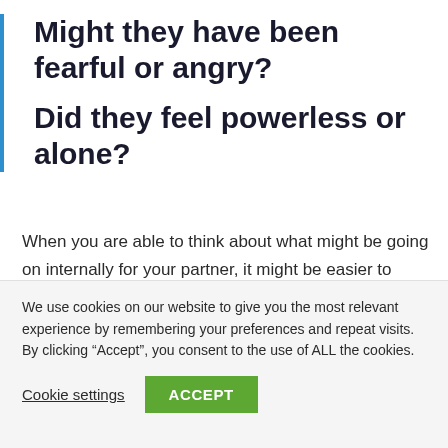Might they have been fearful or angry?
Did they feel powerless or alone?
When you are able to think about what might be going on internally for your partner, it might be easier to understand their frustrating or madding behavior. You may be able to let go of the anger and resentment you feel toward them. You may even feel some compassion.
We use cookies on our website to give you the most relevant experience by remembering your preferences and repeat visits. By clicking “Accept”, you consent to the use of ALL the cookies.
Cookie settings  ACCEPT